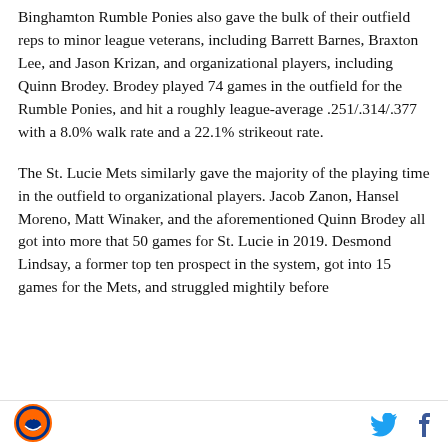Binghamton Rumble Ponies also gave the bulk of their outfield reps to minor league veterans, including Barrett Barnes, Braxton Lee, and Jason Krizan, and organizational players, including Quinn Brodey. Brodey played 74 games in the outfield for the Rumble Ponies, and hit a roughly league-average .251/.314/.377 with a 8.0% walk rate and a 22.1% strikeout rate.
The St. Lucie Mets similarly gave the majority of the playing time in the outfield to organizational players. Jacob Zanon, Hansel Moreno, Matt Winaker, and the aforementioned Quinn Brodey all got into more that 50 games for St. Lucie in 2019. Desmond Lindsay, a former top ten prospect in the system, got into 15 games for the Mets, and struggled mightily before
[Figure (logo): Circular logo with orange and blue Mets-style design]